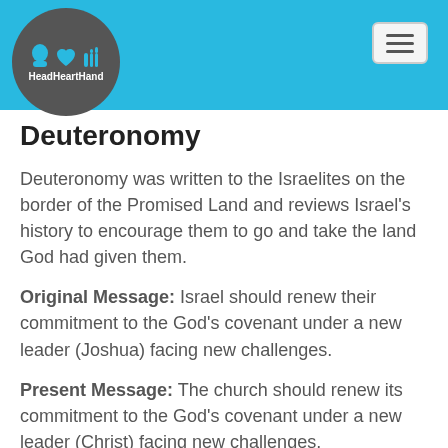[Figure (logo): HeadHeartHand logo: circular dark grey badge with blue head, heart and hand icons and text 'HeadHeartHand']
Deuteronomy
Deuteronomy was written to the Israelites on the border of the Promised Land and reviews Israel's history to encourage them to go and take the land God had given them.
Original Message: Israel should renew their commitment to the God's covenant under a new leader (Joshua) facing new challenges.
Present Message: The church should renew its commitment to the God's covenant under a new leader (Christ) facing new challenges.